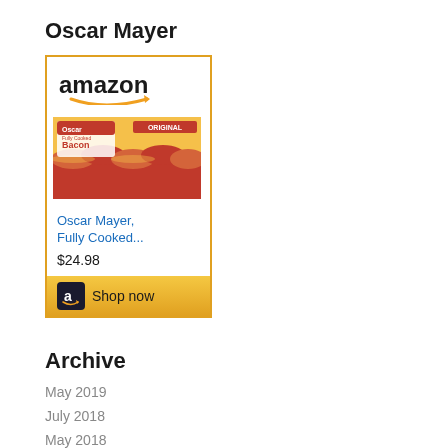Oscar Mayer
[Figure (screenshot): Amazon product listing card for Oscar Mayer Fully Cooked Bacon at $24.98, with Amazon logo, product image, blue product title link, price, and a Shop now button with Amazon icon]
Archive
May 2019
July 2018
May 2018